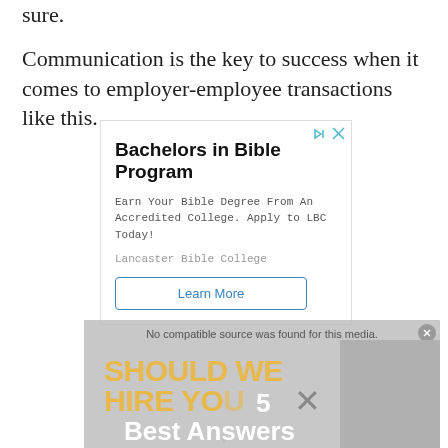sure.
Communication is the key to success when it comes to employer-employee transactions like this.
[Figure (screenshot): Advertisement for Bachelors in Bible Program at Lancaster Bible College with Learn More button, overlaid with a partially visible video ad showing 'SHOULD WE HIRE YOU?' text and portrait image]
No compatible source was found for this media.